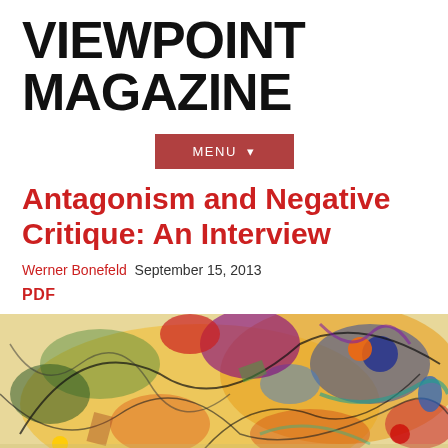VIEWPOINT MAGAZINE
MENU ▼
Antagonism and Negative Critique: An Interview
Werner Bonefeld  September 15, 2013
PDF
[Figure (illustration): Abstract expressionist painting with vivid colors including yellows, reds, blues, greens, and blacks, showing swirling dynamic forms reminiscent of Kandinsky's style.]